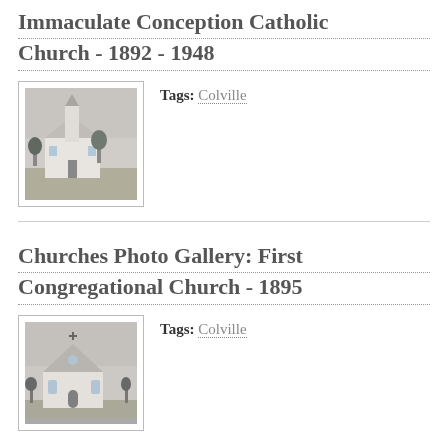Immaculate Conception Catholic Church - 1892 - 1948
[Figure (photo): Black and white historic photo of the Immaculate Conception Catholic Church building with a bell tower]
Tags: Colville
Churches Photo Gallery: First Congregational Church - 1895
[Figure (photo): Black and white historic photo of the First Congregational Church building]
Tags: Colville